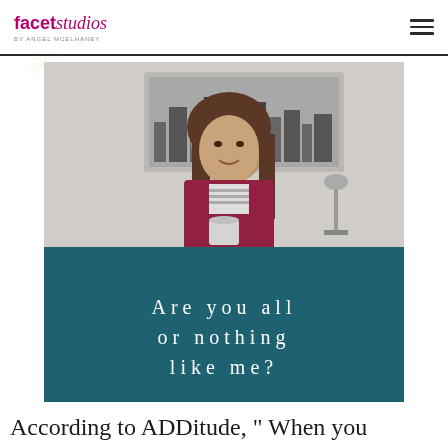facet studios BY ANGEL MCELHANEY
[Figure (photo): A woman with long brown hair wearing a red blazer and striped shirt, sitting at a desk holding a mug, with a black-and-white cityscape print behind her. The lower portion of the image has a teal background with the text 'Are you all or nothing like me?' in white spaced lettering.]
According to ADDitude, " When you